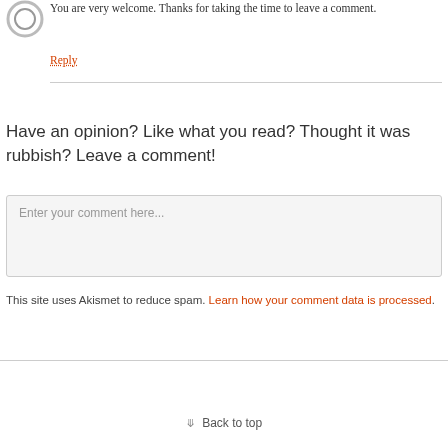[Figure (illustration): Circular avatar/profile image placeholder (ring shape)]
You are very welcome. Thanks for taking the time to leave a comment.
Reply
Have an opinion? Like what you read? Thought it was rubbish? Leave a comment!
Enter your comment here...
This site uses Akismet to reduce spam. Learn how your comment data is processed.
Back to top